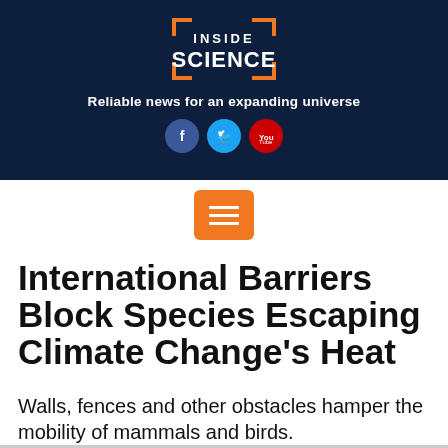[Figure (logo): Inside Science logo with orange bracket design on dark navy background]
Reliable news for an expanding universe
[Figure (infographic): Social media icons: Facebook, Twitter, YouTube]
[Figure (infographic): Orange hamburger menu button with three white horizontal lines]
International Barriers Block Species Escaping Climate Change's Heat
Walls, fences and other obstacles hamper the mobility of mammals and birds.